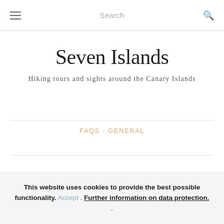≡  Search  🔍
Seven Islands
Hiking tours and sights around the Canary Islands
FAQS - GENERAL
This website uses cookies to provide the best possible functionality. Accept . Further information on data protection. .